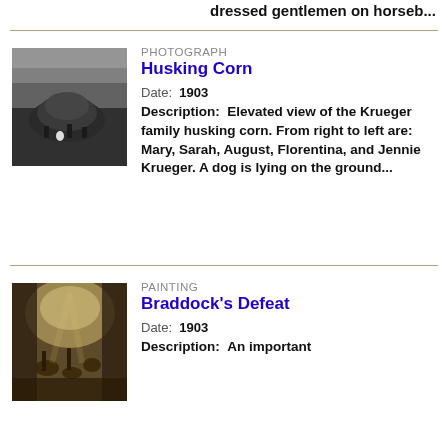dressed gentlemen on horseb...
[Figure (photo): Black and white photograph of the Krueger family husking corn, elevated view]
PHOTOGRAPH
Husking Corn
Date: 1903
Description: Elevated view of the Krueger family husking corn. From right to left are: Mary, Sarah, August, Florentina, and Jennie Krueger. A dog is lying on the ground...
[Figure (photo): Painting of Braddock's Defeat, a historical battle scene]
PAINTING
Braddock's Defeat
Date: 1903
Description: An important